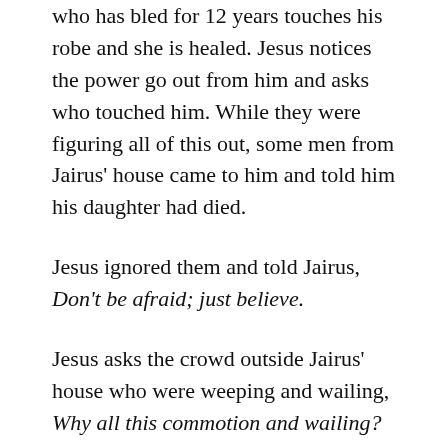who has bled for 12 years touches his robe and she is healed. Jesus notices the power go out from him and asks who touched him. While they were figuring all of this out, some men from Jairus' house came to him and told him his daughter had died.
Jesus ignored them and told Jairus, Don't be afraid; just believe.
Jesus asks the crowd outside Jairus' house who were weeping and wailing, Why all this commotion and wailing? The child is not dead but asleep.
He has them all leave and goes in with this little girl's parents to where she was laying. He